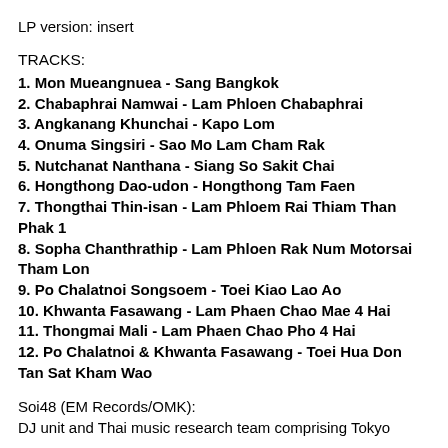LP version: insert
TRACKS:
1. Mon Mueangnuea - Sang Bangkok
2. Chabaphrai Namwai - Lam Phloen Chabaphrai
3. Angkanang Khunchai - Kapo Lom
4. Onuma Singsiri - Sao Mo Lam Cham Rak
5. Nutchanat Nanthana - Siang So Sakit Chai
6. Hongthong Dao-udon - Hongthong Tam Faen
7. Thongthai Thin-isan - Lam Phloem Rai Thiam Than Phak 1
8. Sopha Chanthrathip - Lam Phloen Rak Num Motorsai Tham Lon
9. Po Chalatnoi Songsoem - Toei Kiao Lao Ao
10. Khwanta Fasawang - Lam Phaen Chao Mae 4 Hai
11. Thongmai Mali - Lam Phaen Chao Pho 4 Hai
12. Po Chalatnoi & Khwanta Fasawang - Toei Hua Don Tan Sat Kham Wao
Soi48 (EM Records/OMK):
DJ unit and Thai music research team comprising Tokyo